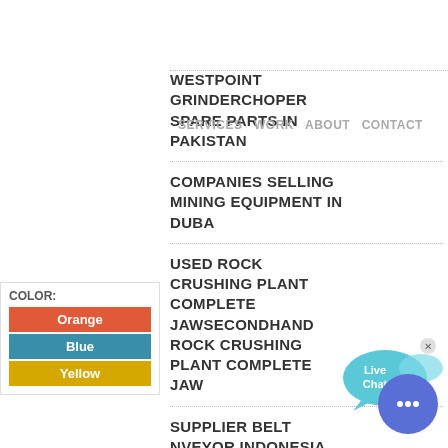SERVICES  WORK  ABOUT  CONTACT
WESTPOINT GRINDERCHOPER SPARE PARTS IN PAKISTAN
COMPANIES SELLING MINING EQUIPMENT IN DUBA
USED ROCK CRUSHING PLANT COMPLETE JAWSECONDHAND ROCK CRUSHING PLANT COMPLETE JAW
SUPPLIER BELT NVEYOR INDONESIA
KURIAN MAGNETIC SEPARATOR PASIR
SOURCES OF PPER IN A STEEL PLANTS WASTEWATER
MODIFICATION OF CEMENT CRUSHER
MOBILE CRUSHER FOR GYPSUM INDIA
GRINDER MACHINE PARTIKEL
AVERAGE PRICE FOR A TON OF GRAVEL IN
[Figure (infographic): Color selector panel showing COLOR: label with three swatches: Orange (red-orange), Blue (teal-blue), Yellow (gold)]
[Figure (infographic): Live Chat button - speech bubble icon in cyan/blue]
[Figure (infographic): Floating chat bubble button in blue/purple at bottom right]